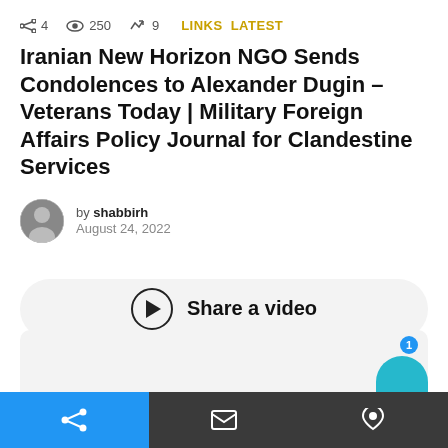4  250  9  LINKS  LATEST
Iranian New Horizon NGO Sends Condolences to Alexander Dugin – Veterans Today | Military Foreign Affairs Policy Journal for Clandestine Services
by shabbirh
August 24, 2022
[Figure (other): Share a video button with play circle icon]
Share / Email / Comment icons in bottom navigation bar